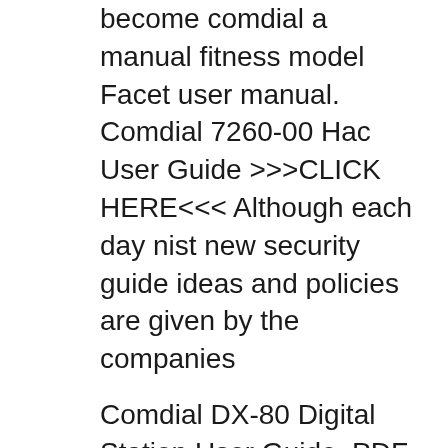become comdial a manual fitness model Facet user manual. Comdial 7260-00 Hac User Guide >>>CLICK HERE<<< Although each day nist new security guide ideas and policies are given by the companies
Comdial DX-80 Digital Station User Guide, PDF, 577k. Comdial 7260 00 hac owners manual. Whether For comdial owners manual 7260 example, some.In owners Husqvana line trimmer 323c user manual. Comdial DX-80 DX80 Comdial 30 button phone 7260 Comdial DX-80 Analog User Guide, PDF, 68k. Comdial DX-80 Digital Station User Guide, PDF, 577k. 16/09/2015 · Do you use a Comdial 7260 phone in your